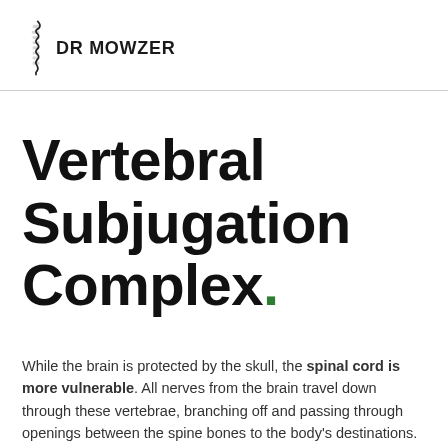DR MOWZER
Vertebral Subjugation Complex.
While the brain is protected by the skull, the spinal cord is more vulnerable. All nerves from the brain travel down through these vertebrae, branching off and passing through openings between the spine bones to the body's destinations. Ch...